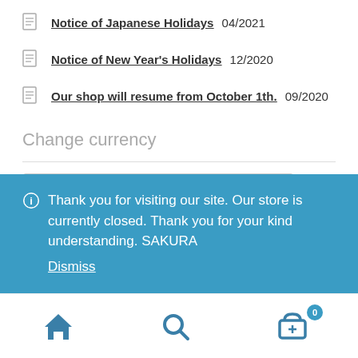Notice of Japanese Holidays 04/2021
Notice of New Year's Holidays 12/2020
Our shop will resume from October 1th. 09/2020
Change currency
United States dollar
Thank you for visiting our site. Our store is currently closed. Thank you for your kind understanding. SAKURA Dismiss